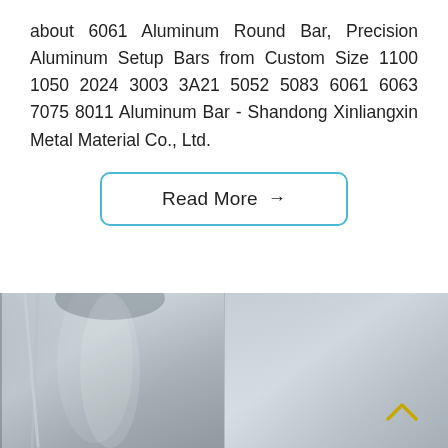about 6061 Aluminum Round Bar, Precision Aluminum Setup Bars from Custom Size 1100 1050 2024 3003 3A21 5052 5083 6061 6063 7075 8011 Aluminum Bar - Shandong Xinliangxin Metal Material Co., Ltd.
Read More →
[Figure (photo): Two side-by-side photos of aluminum bar/sheet material surfaces, showing metallic grey finish with subtle reflections and surface texture.]